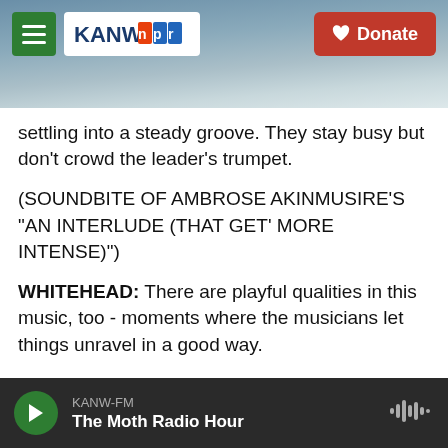KANW NPR | Donate
settling into a steady groove. They stay busy but don't crowd the leader's trumpet.
(SOUNDBITE OF AMBROSE AKINMUSIRE'S "AN INTERLUDE (THAT GET' MORE INTENSE)")
WHITEHEAD: There are playful qualities in this music, too - moments where the musicians let things unravel in a good way.
Ambrose Akinmusire calls his new album a blues record. But traditional blues markers are hard to come by, even on a tune called "Blues," subtitled
KANW-FM
The Moth Radio Hour